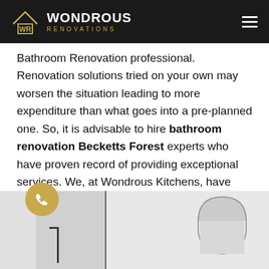WONDROUS RENOVATIONS
Bathroom Renovation professional. Renovation solutions tried on your own may worsen the situation leading to more expenditure than what goes into a pre-planned one. So, it is advisable to hire bathroom renovation Becketts Forest experts who have proven record of providing exceptional services. We, at Wondrous Kitchens, have been able to keep our Becketts Forest customers satisfied because of the quality work done at affordable cost. This is how we can help:
[Figure (photo): Bathroom interior showing a wall panel and an arch mirror, with a gold phone icon circle overlay in the bottom-left corner]